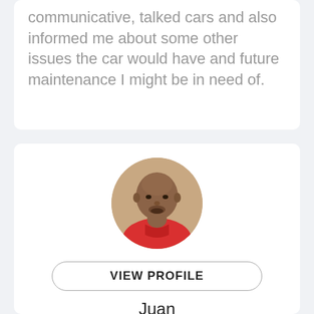communicative, talked cars and also informed me about some other issues the car would have and future maintenance I might be in need of.
[Figure (photo): Round profile photo of a man with a shaved head wearing a red shirt, set against a beige/tan background]
VIEW PROFILE
Juan
GET A QUOTE